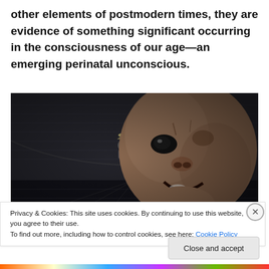other elements of postmodern times, they are evidence of something significant occurring in the consciousness of our age—an emerging perinatal unconscious.
[Figure (photo): A large distorted baby doll face in the foreground, dark industrial interior with a small figure seated in background, dark moody cinematic scene.]
Privacy & Cookies: This site uses cookies. By continuing to use this website, you agree to their use.
To find out more, including how to control cookies, see here: Cookie Policy
Close and accept